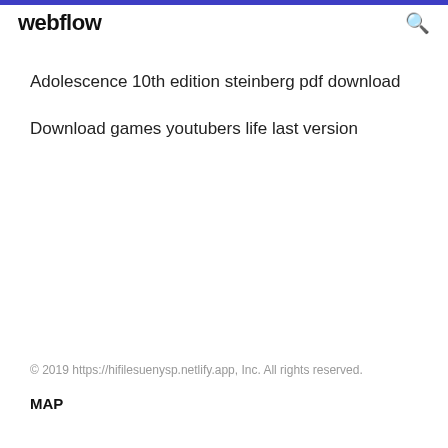webflow
Adolescence 10th edition steinberg pdf download
Download games youtubers life last version
© 2019 https://hifilesuenysp.netlify.app, Inc. All rights reserved.
MAP